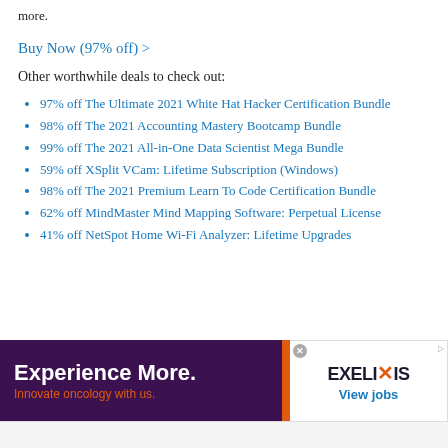more.
Buy Now (97% off) >
Other worthwhile deals to check out:
97% off The Ultimate 2021 White Hat Hacker Certification Bundle
98% off The 2021 Accounting Mastery Bootcamp Bundle
99% off The 2021 All-in-One Data Scientist Mega Bundle
59% off XSplit VCam: Lifetime Subscription (Windows)
98% off The 2021 Premium Learn To Code Certification Bundle
62% off MindMaster Mind Mapping Software: Perpetual License
41% off NetSpot Home Wi-Fi Analyzer: Lifetime Upgrades
[Figure (infographic): Advertisement banner for Exelixis: 'Experience More. Innovate oncology with us.' with Exelixis logo and 'View jobs' link on white background, purple left panel with orange accent.]